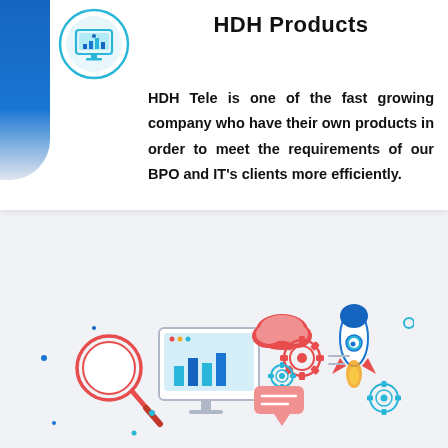HDH Products
HDH Tele is one of the fast growing company who have their own products in order to meet the requirements of our BPO and IT's clients more efficiently.
[Figure (illustration): Flat design illustration of digital business tools including a magnifying glass, computer monitor with charts, cloud with gears, speech bubble, rocket, and various tech icons in red, blue, and teal colors.]